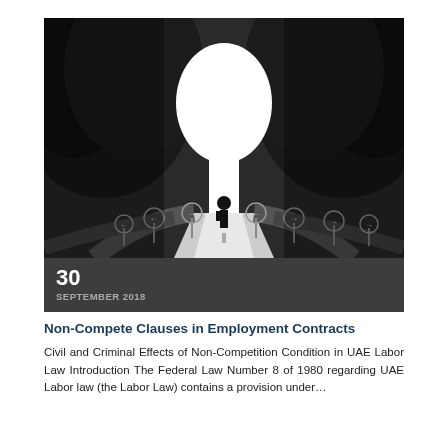[Figure (photo): Black and white dramatic photo of a silhouetted person standing at a crossroads with multiple road signs pointing in different directions, with a bright light forming a keyhole or arch shape in the background through dark trees.]
30
SEPTEMBER 2018
Non-Compete Clauses in Employment Contracts
Civil and Criminal Effects of Non-Competition Condition in UAE Labor Law Introduction The Federal Law Number 8 of 1980 regarding UAE Labor law (the Labor Law) contains a provision under...